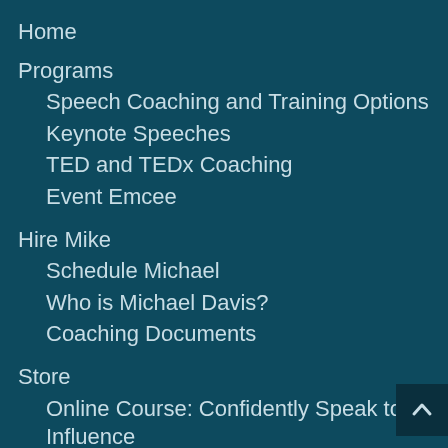Home
Programs
Speech Coaching and Training Options
Keynote Speeches
TED and TEDx Coaching
Event Emcee
Hire Mike
Schedule Michael
Who is Michael Davis?
Coaching Documents
Store
Online Course: Confidently Speak to Influence
Mini-Course: Virtual Presentation Mastery
Mini-Course: Public Speaking Mastery
Book: THE Book on Storytelling – Increase